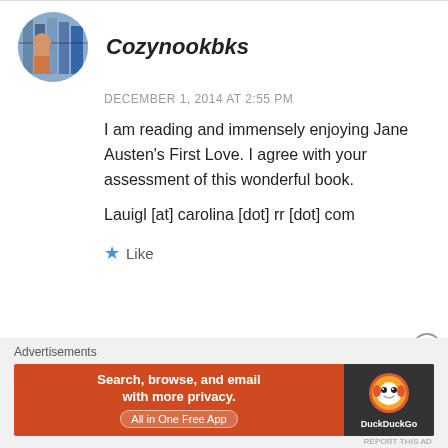Cozynookbks
DECEMBER 1, 2014 AT 2:55 PM
I am reading and immensely enjoying Jane Austen's First Love. I agree with your assessment of this wonderful book.

Lauigl [at] carolina [dot] rr [dot] com
Like
Advertisements
[Figure (other): DuckDuckGo advertisement banner with orange background. Text: Search, browse, and email with more privacy. All in One Free App. DuckDuckGo logo on dark right panel.]